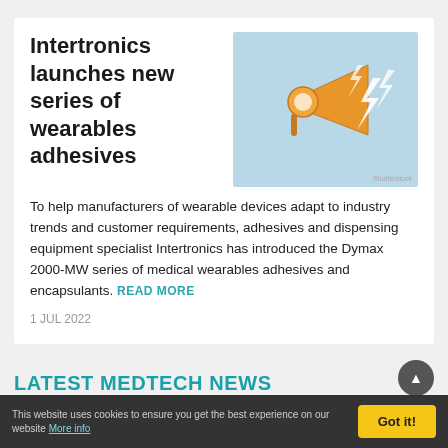Intertronics launches new series of wearables adhesives
[Figure (illustration): Illustration of an orange megaphone/loudspeaker emitting lightning bolt shapes on a light blue background, with Shutterstock watermark]
To help manufacturers of wearable devices adapt to industry trends and customer requirements, adhesives and dispensing equipment specialist Intertronics has introduced the Dymax 2000-MW series of medical wearables adhesives and encapsulants. READ MORE
1 JUL 2022
LATEST MEDTECH NEWS